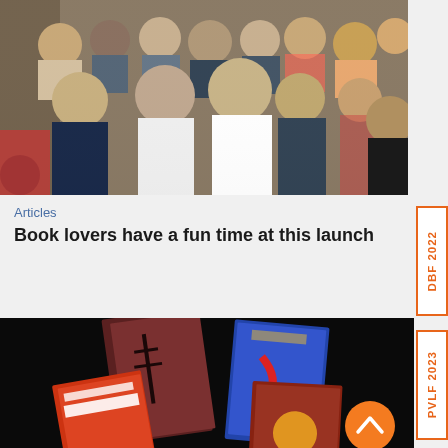[Figure (photo): Group of people seated at what appears to be a book launch event, including men and women of various ages in a crowded indoor setting.]
Articles
Book lovers have a fun time at this launch
[Figure (photo): Book covers displayed on a dark background: A Himalayan Love Story, Pashmina by Nidhi Chanani, Amitav Ghosh Sea of (Poppies), and Menter Ghosh Flood of Fire.]